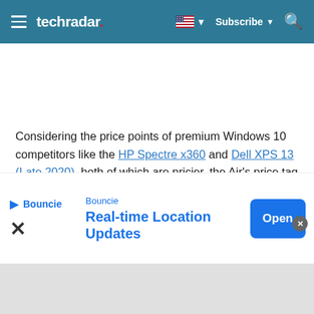techradar — Subscribe
[Figure (screenshot): White content area / advertisement placeholder]
Considering the price points of premium Windows 10 competitors like the HP Spectre x360 and Dell XPS 13 (Late 2020), both of which are pricier, the Air’s price tag looks even more competitive.
[Figure (infographic): Ad banner: Bouncie Real-time Location Updates with Open button]